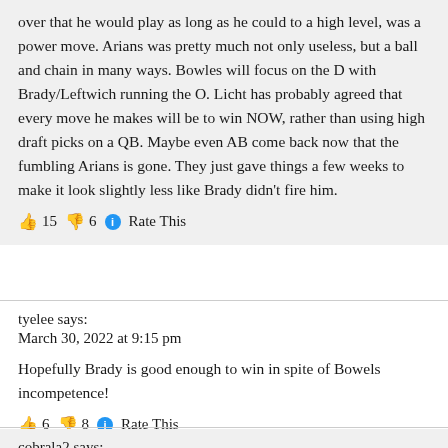over that he would play as long as he could to a high level, was a power move. Arians was pretty much not only useless, but a ball and chain in many ways. Bowles will focus on the D with Brady/Leftwich running the O. Licht has probably agreed that every move he makes will be to win NOW, rather than using high draft picks on a QB. Maybe even AB come back now that the fumbling Arians is gone. They just gave things a few weeks to make it look slightly less like Brady didn't fire him.
👍 15 👎 6 ℹ Rate This
tyelee says:
March 30, 2022 at 9:15 pm
Hopefully Brady is good enough to win in spite of Bowels incompetence!
👍 6 👎 8 ℹ Rate This
cobrala2 says: